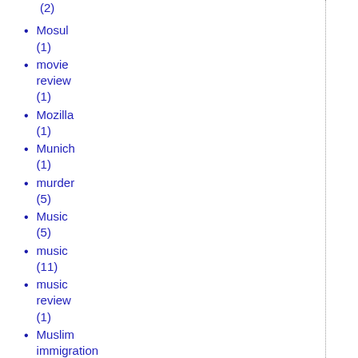(2)
Mosul (1)
movie review (1)
Mozilla (1)
Munich (1)
murder (5)
Music (5)
music (11)
music review (1)
Muslim immigration (1)
mysticism (1)
Myth of...